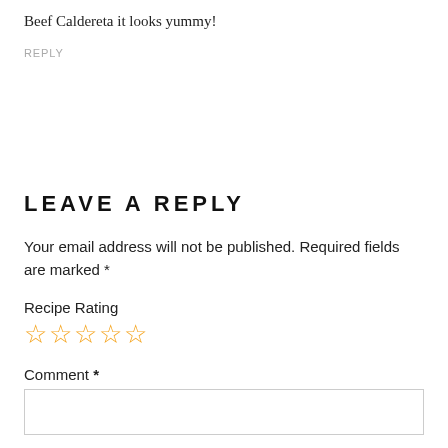Beef Caldereta it looks yummy!
REPLY
LEAVE A REPLY
Your email address will not be published. Required fields are marked *
Recipe Rating
[Figure (other): Five empty star rating icons in orange/gold color]
Comment *
[Figure (other): Empty comment text area input box]